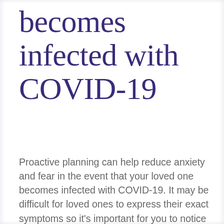becomes infected with COVID-19
Proactive planning can help reduce anxiety and fear in the event that your loved one becomes infected with COVID-19. It may be difficult for loved ones to express their exact symptoms so it's important for you to notice any changes in health, particularly if they've experienced any cognitive decline.
If your loved one becomes infected with